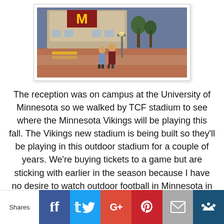[Figure (photo): Two people standing outside TCF Bank Stadium at the University of Minnesota campus, with the stadium building visible in the background showing a large M logo]
The reception was on campus at the University of Minnesota so we walked by TCF stadium to see where the Minnesota Vikings will be playing this fall. The Vikings new stadium is being built so they'll be playing in this outdoor stadium for a couple of years. We're buying tickets to a game but are sticking with earlier in the season because I have no desire to watch outdoor football in Minnesota in December! Unless the Vikings are in the playoffs.  Then we'll tough it out!